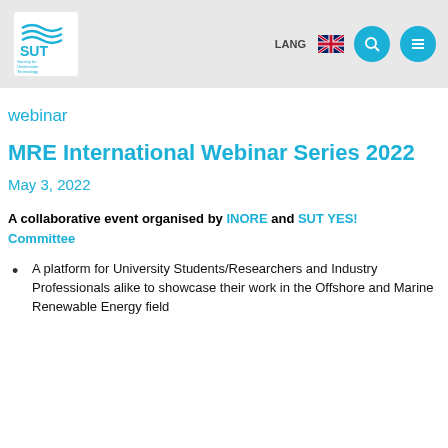[Figure (logo): SUT - Society for Underwater Technology logo with blue wave design]
LANG [UK flag] [search icon] [menu icon]
webinar
MRE International Webinar Series 2022
May 3, 2022
A collaborative event organised by INORE and SUT YES! Committee
A platform for University Students/Researchers and Industry Professionals alike to showcase their work in the Offshore and Marine Renewable Energy field